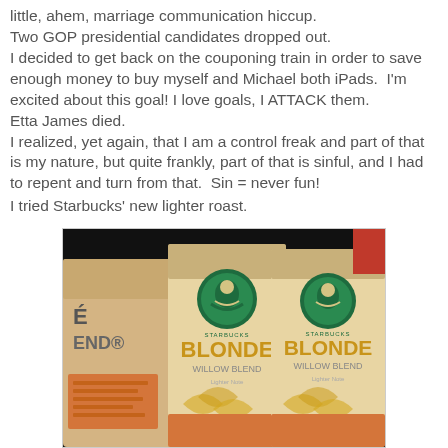little, ahem, marriage communication hiccup.
Two GOP presidential candidates dropped out.
I decided to get back on the couponing train in order to save enough money to buy myself and Michael both iPads.  I'm excited about this goal! I love goals, I ATTACK them.
Etta James died.
I realized, yet again, that I am a control freak and part of that is my nature, but quite frankly, part of that is sinful, and I had to repent and turn from that.  Sin = never fun!
I tried Starbucks' new lighter roast.
[Figure (photo): Photo of three Starbucks Blonde Willow Blend coffee bags displayed side by side against a dark background]